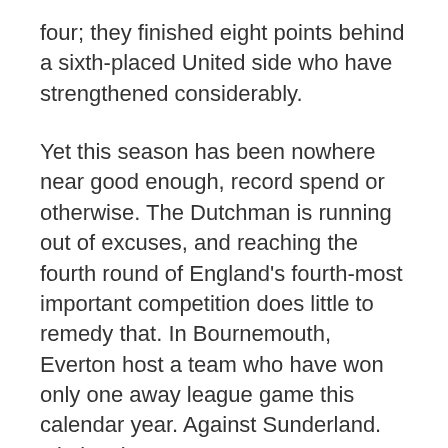four; they finished eight points behind a sixth-placed United side who have strengthened considerably.
Yet this season has been nowhere near good enough, record spend or otherwise. The Dutchman is running out of excuses, and reaching the fourth round of England's fourth-most important competition does little to remedy that. In Bournemouth, Everton host a team who have won only one away league game this calendar year. Against Sunderland. Obviously.
One-on-one battle to watch – Harry Kane v Winston Reid
The London derby. The nawty meeting. West v Totten. The 'oh, I don't like our expensive new stadium' derby. Whichever title Sky Sports bestows upon Saturday lunchtime's game, the London Stadium is sure to play host to goals, bookings and general good natured tomfoolery.